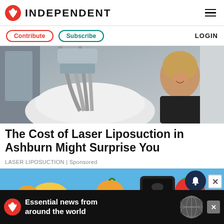INDEPENDENT
Contribute | Subscribe | LOGIN
[Figure (photo): A woman lying on a medical treatment table with laser liposuction equipment positioned over her body; she is smiling and wearing a black top; the equipment shows multiple hoses and mechanical components.]
The Cost of Laser Liposuction in Ashburn Might Surprise You
LASER LIPOSUCTION | Sponsored
[Figure (photo): A colorful advertisement image showing food items including a strawberry, orange/yellow pepper, and what appears to be a diabetes monitor or similar device, set against a blue background.]
Essential news from around the world